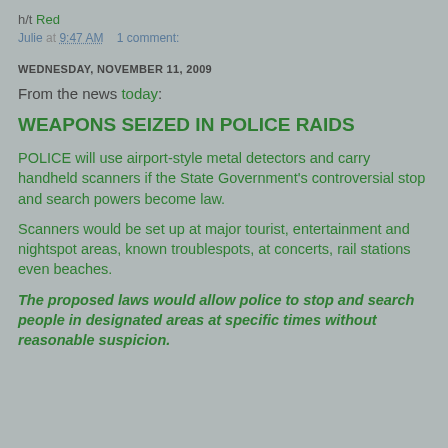h/t Red
Julie at 9:47 AM    1 comment:
WEDNESDAY, NOVEMBER 11, 2009
From the news today:
WEAPONS SEIZED IN POLICE RAIDS
POLICE will use airport-style metal detectors and carry handheld scanners if the State Government's controversial stop and search powers become law.
Scanners would be set up at major tourist, entertainment and nightspot areas, known troublespots, at concerts, rail stations even beaches.
The proposed laws would allow police to stop and search people in designated areas at specific times without reasonable suspicion.